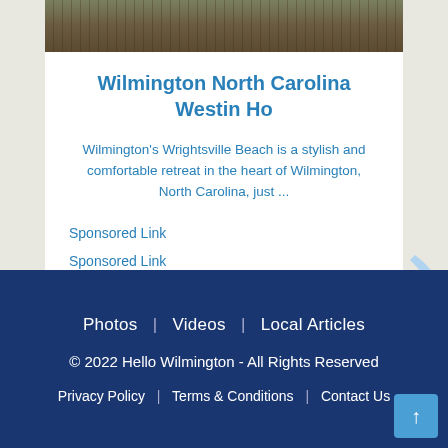[Figure (photo): Building facade photo strip at top of card]
Wilmington North Carolina Westin Ho
Wilmington's Wrightsville Beach is a stylish and comfortable retreat in the heart of Wilmington, North Carolina, just ...
Sponsored Link
Sponsored Link
[Figure (map): Street map of Wilmington area showing Marshallton, Lynford, Alban Park, Ashley Heights]
Photos | Videos | Local Articles
© 2022 Hello Wilmington - All Rights Reserved
Privacy Policy | Terms & Conditions | Contact Us